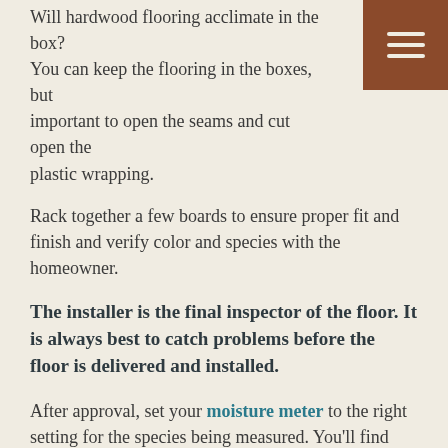Will hardwood flooring acclimate in the box? You can keep the flooring in the boxes, but it is important to open the seams and cut open the plastic wrapping.
Rack together a few boards to ensure proper fit and finish and verify color and species with the homeowner.
The installer is the final inspector of the floor. It is always best to catch problems before the floor is delivered and installed.
After approval, set your moisture meter to the right setting for the species being measured. You'll find this setting in the moisture meter's operating manual.